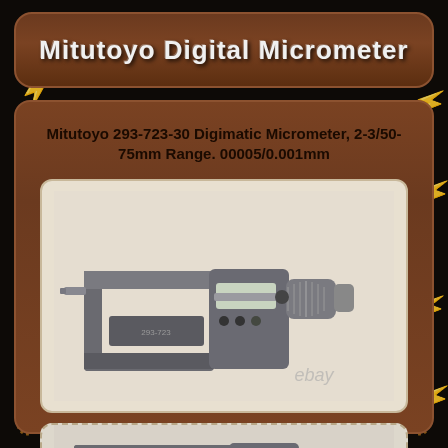Mitutoyo Digital Micrometer
Mitutoyo 293-723-30 Digimatic Micrometer, 2-3/50-75mm Range. 00005/0.001mm
[Figure (photo): Photo of a Mitutoyo 293-723-30 Digimatic digital micrometer showing the C-frame body, digital display, and measuring spindle, with ebay watermark]
[Figure (photo): Partial photo of the same or similar Mitutoyo digital micrometer showing close-up of the spindle and thimble area]